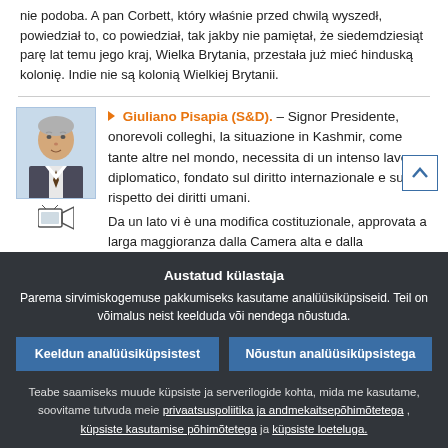nie podoba. A pan Corbett, który właśnie przed chwilą wyszedł, powiedział to, co powiedział, tak jakby nie pamiętał, że siedemdziesiąt parę lat temu jego kraj, Wielka Brytania, przestała już mieć hinduską kolonię. Indie nie są kolonią Wielkiej Brytanii.
[Figure (photo): Headshot photo of Giuliano Pisapia, a man in a suit and tie, elderly gentleman with grey hair.]
Giuliano Pisapia (S&D). – Signor Presidente, onorevoli colleghi, la situazione in Kashmir, come tante altre nel mondo, necessita di un intenso lavoro diplomatico, fondato sul diritto internazionale e sul rispetto dei diritti umani. Da un lato vi è una modifica costituzionale, approvata a larga maggioranza dalla Camera alta e dalla
Austatud külastaja
Parema sirvimiskogemuse pakkumiseks kasutame analüüsiküpsiseid. Teil on võimalus neist keelduda või nendega nõustuda.
Keeldun analüüsiküpsistest
Nõustun analüüsiküpsistega
Teabe saamiseks muude küpsiste ja serverilogide kohta, mida me kasutame, soovitame tutvuda meie privaatsuspoliitika ja andmekaitsepõhimõtetega , küpsiste kasutamise põhimõtetega ja küpsiste loeteluga.